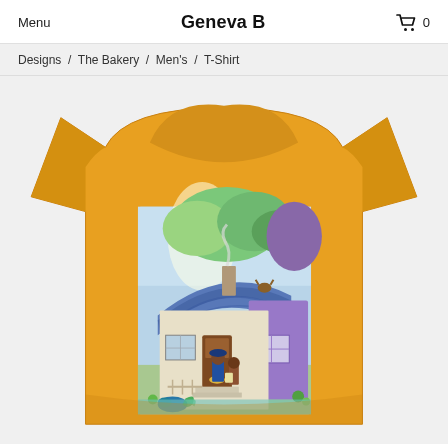Menu   Geneva B   🛒 0
Designs / The Bakery / Men's / T-Shirt
[Figure (photo): Product listing screenshot showing a golden-yellow men's t-shirt with an artistic illustration printed on the front. The illustration depicts a whimsical cottage bakery scene with blue/purple thatched roof, colorful trees, and two figures near the entrance.]